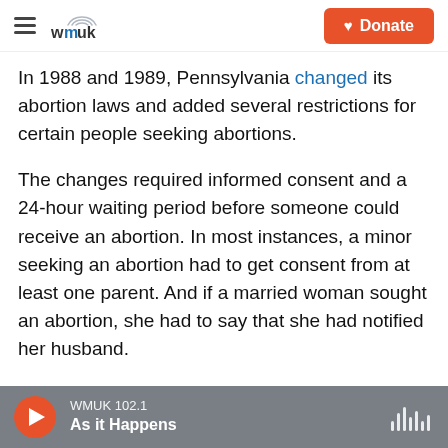WMUK — hamburger menu, logo, Donate button
In 1988 and 1989, Pennsylvania changed its abortion laws and added several restrictions for certain people seeking abortions.
The changes required informed consent and a 24-hour waiting period before someone could receive an abortion. In most instances, a minor seeking an abortion had to get consent from at least one parent. And if a married woman sought an abortion, she had to say that she had notified her husband.
Several doctors and abortion providers sued and the case went to a district court, which ruled that the law was unconstitutional. An appeals court
WMUK 102.1 | As it Happens